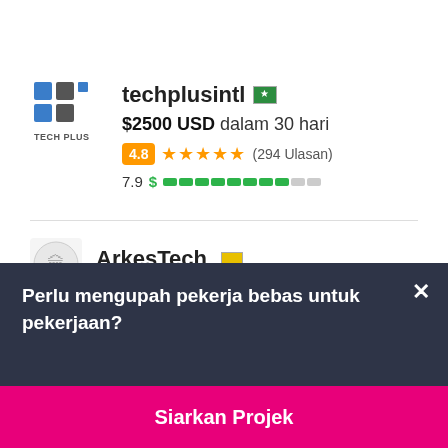[Figure (logo): Tech Plus logo — blue and gray grid of squares with 'TECH PLUS' text below]
techplusintl 🇵🇰
$2500 USD dalam 30 hari
4.8 ★★★★★ (294 Ulasan)
7.9 $ ████████░░
ArkesTech 🟡
Perlu mengupah pekerja bebas untuk pekerjaan?
Siarkan Projek